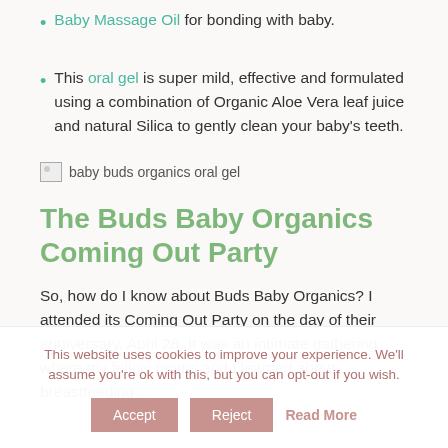Baby Massage Oil for bonding with baby.
This oral gel is super mild, effective and formulated using a combination of Organic Aloe Vera leaf juice and natural Silica to gently clean your baby's teeth.
[Figure (photo): Broken image placeholder for baby buds organics oral gel product photo]
The Buds Baby Organics Coming Out Party
So, how do I know about Buds Baby Organics? I attended its Coming Out Party on the day of their anniversary, April 28. It was an intimate gathering where my fellow moms and I learned about breastfeeding…
This website uses cookies to improve your experience. We'll assume you're ok with this, but you can opt-out if you wish.